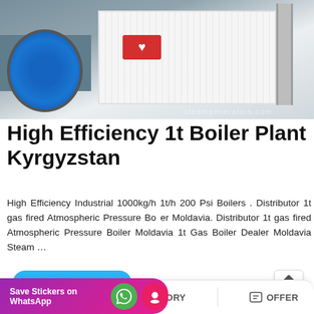[Figure (photo): Industrial boiler plant with a large blue motor/fan on the left side and a white container-style boiler unit in the background, with access ladders visible on the right.]
High Efficiency 1t Boiler Plant Kyrgyzstan
High Efficiency Industrial 1000kg/h 1t/h 200 Psi Boilers . Distributor 1t gas fired Atmospheric Pressure Boiler Moldavia. Distributor 1t gas fired Atmospheric Pressure Boiler Moldavia 1t Gas Boiler Dealer Moldavia Steam …
READ MORE
Save Stickers on WhatsApp
MAIL   ADVISORY   OFFER